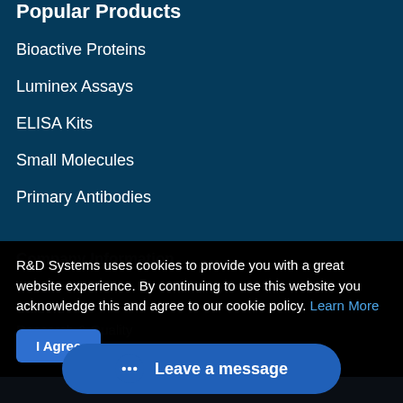Popular Products
Bioactive Proteins
Luminex Assays
ELISA Kits
Small Molecules
Primary Antibodies
Company Information
About
Careers
Research & Quality
Bio-Techne Brands
R&D Systems uses cookies to provide you with a great website experience. By continuing to use this website you acknowledge this and agree to our cookie policy. Learn More
I Agree
Leave a message